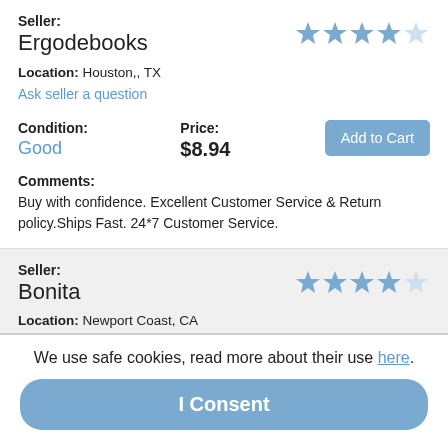Seller: Ergodebooks
Location: Houston,, TX
Ask seller a question
Condition: Good
Price: $8.94
Add to Cart
Comments: Buy with confidence. Excellent Customer Service & Return policy.Ships Fast. 24*7 Customer Service.
Seller: Bonita
Location: Newport Coast, CA
Condition:
Price:
Add to Cart
We use safe cookies, read more about their use here.
I Consent